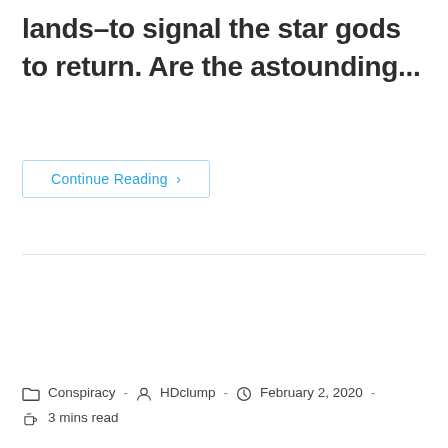lands–to signal the star gods to return. Are the astounding...
Continue Reading ›
Conspiracy · HDclump · February 2, 2020 · 3 mins read